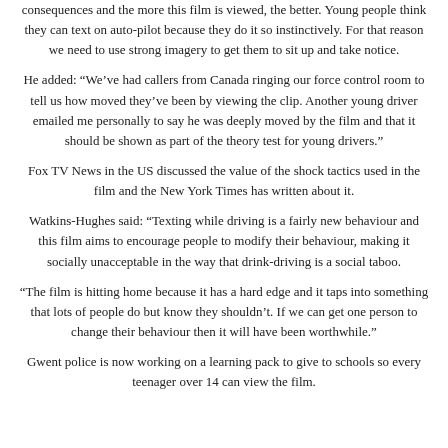consequences and the more this film is viewed, the better. Young people think they can text on auto-pilot because they do it so instinctively. For that reason we need to use strong imagery to get them to sit up and take notice.
He added: “We’ve had callers from Canada ringing our force control room to tell us how moved they’ve been by viewing the clip. Another young driver emailed me personally to say he was deeply moved by the film and that it should be shown as part of the theory test for young drivers.”
Fox TV News in the US discussed the value of the shock tactics used in the film and the New York Times has written about it.
Watkins-Hughes said: “Texting while driving is a fairly new behaviour and this film aims to encourage people to modify their behaviour, making it socially unacceptable in the way that drink-driving is a social taboo.
“The film is hitting home because it has a hard edge and it taps into something that lots of people do but know they shouldn’t. If we can get one person to change their behaviour then it will have been worthwhile.”
Gwent police is now working on a learning pack to give to schools so every teenager over 14 can view the film.
Leave a Reply
Your email address will not be published. Required fields are marked *